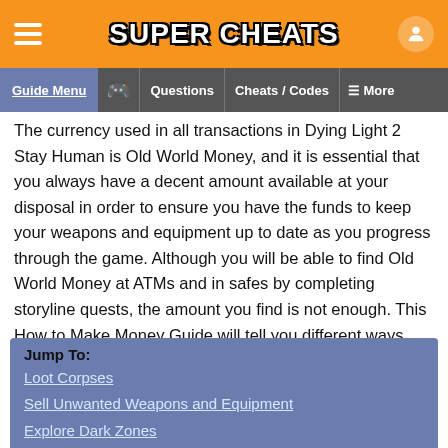SUPER CHEATS
Guide Menu | Questions | Cheats / Codes | More
The currency used in all transactions in Dying Light 2 Stay Human is Old World Money, and it is essential that you always have a decent amount available at your disposal in order to ensure you have the funds to keep your weapons and equipment up to date as you progress through the game. Although you will be able to find Old World Money at ATMs and in safes by completing storyline quests, the amount you find is not enough. This How to Make Money Guide will tell you different ways you can get your hands on more cash.
Loot Corpses
Sell Unwanted Weapons and Equipment
Explore Dark Zones
Collect Crystal Cores
Military Convoys